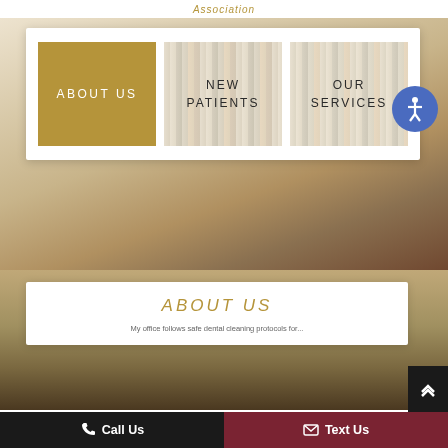Association
[Figure (screenshot): Navigation cards section with three buttons: ABOUT US (gold background), NEW PATIENTS (wood texture background), OUR SERVICES (wood texture background), and an accessibility icon button]
ABOUT US
My office follows safe dental cleaning protocols for...
Call Us    Text Us